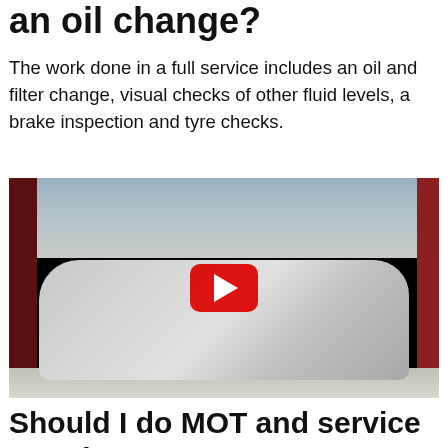an oil change?
The work done in a full service includes an oil and filter change, visual checks of other fluid levels, a brake inspection and tyre checks.
[Figure (photo): A silver Mercedes-Benz SLK coupe parked in a car service garage, with a person in dark clothing standing in the background. A red YouTube play button overlay is visible in the center of the image.]
Should I do MOT and service together?